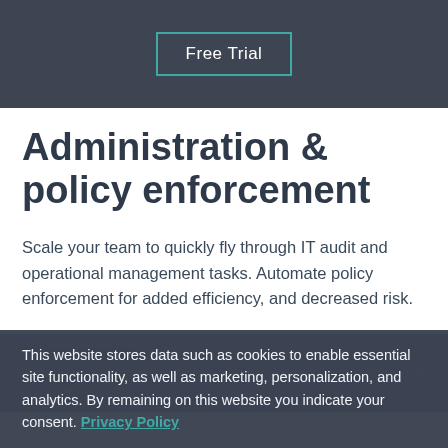Free Trial
Administration & policy enforcement
Scale your team to quickly fly through IT audit and operational management tasks. Automate policy enforcement for added efficiency, and decreased risk.
Manage security
Search for and edit, clone, transfer, or delete built-in or custom user or group permissions.
This website stores data such as cookies to enable essential site functionality, as well as marketing, personalization, and analytics. By remaining on this website you indicate your consent. Privacy Policy